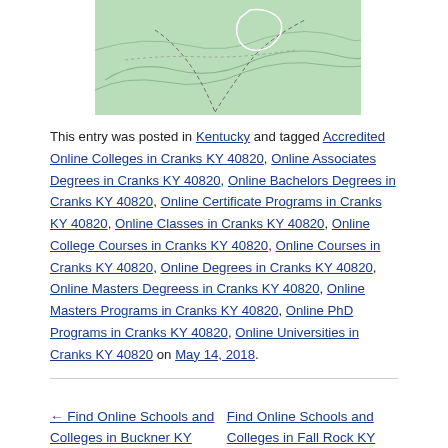[Figure (map): A green topographic/geographic map showing roads and terrain outlines in the Cranks, KY 40820 area]
This entry was posted in Kentucky and tagged Accredited Online Colleges in Cranks KY 40820, Online Associates Degrees in Cranks KY 40820, Online Bachelors Degrees in Cranks KY 40820, Online Certificate Programs in Cranks KY 40820, Online Classes in Cranks KY 40820, Online College Courses in Cranks KY 40820, Online Courses in Cranks KY 40820, Online Degrees in Cranks KY 40820, Online Masters Degreess in Cranks KY 40820, Online Masters Programs in Cranks KY 40820, Online PhD Programs in Cranks KY 40820, Online Universities in Cranks KY 40820 on May 14, 2018.
← Find Online Schools and Colleges in Buckner KY 40010
Find Online Schools and Colleges in Fall Rock KY 40932